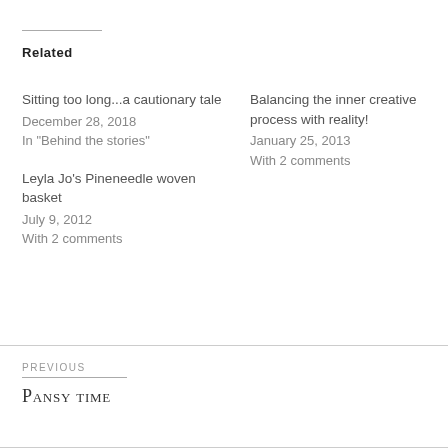Related
Sitting too long...a cautionary tale
December 28, 2018
In "Behind the stories"
Balancing the inner creative process with reality!
January 25, 2013
With 2 comments
Leyla Jo's Pineneedle woven basket
July 9, 2012
With 2 comments
PREVIOUS
Pansy time